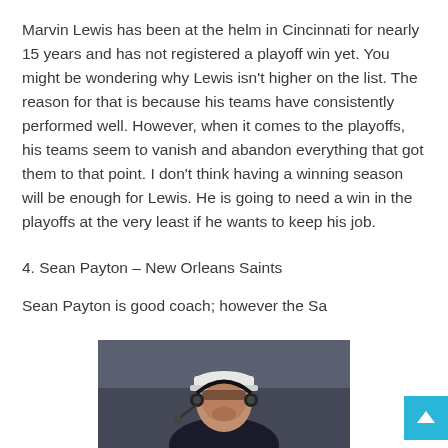Marvin Lewis has been at the helm in Cincinnati for nearly 15 years and has not registered a playoff win yet. You might be wondering why Lewis isn't higher on the list. The reason for that is because his teams have consistently performed well. However, when it comes to the playoffs, his teams seem to vanish and abandon everything that got them to that point. I don't think having a winning season will be enough for Lewis. He is going to need a win in the playoffs at the very least if he wants to keep his job.
4. Sean Payton – New Orleans Saints
Sean Payton is good coach; however the Sa
[Figure (photo): Photo of Sean Payton, NFL coach, wearing a white cap and headset, looking downward. Dark blurred background.]